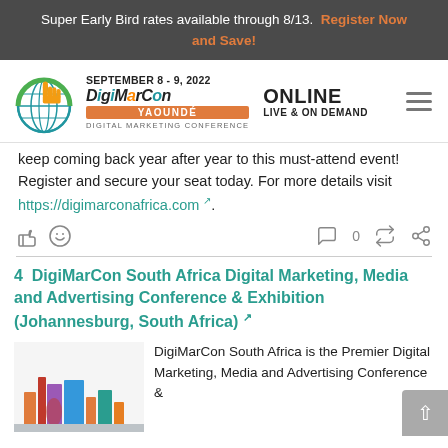Super Early Bird rates available through 8/13.  Register Now and Save!
[Figure (logo): DigiMarCon Yaoundé Digital Marketing Conference logo with globe and pointer icon, September 8-9, 2022, Online Live & On Demand]
keep coming back year after year to this must-attend event! Register and secure your seat today. For more details visit https://digimarconafrica.com.
Social reaction icons and share bar: thumbs up, smiley, comment 0, retweet, share
4  DigiMarCon South Africa Digital Marketing, Media and Advertising Conference & Exhibition (Johannesburg, South Africa)
DigiMarCon South Africa is the Premier Digital Marketing, Media and Advertising Conference &